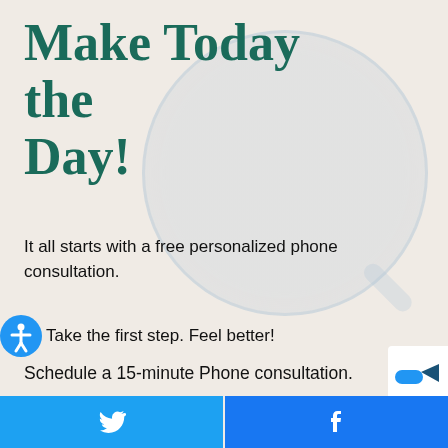Make Today the Day!
It all starts with a free personalized phone consultation.
Take the first step. Feel better!
Schedule a 15-minute Phone consultation.
[Twitter share button] [Facebook share button]